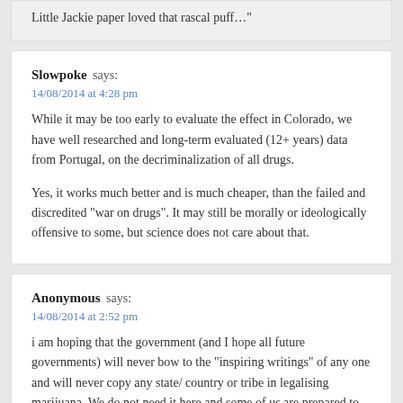Little Jackie paper loved that rascal puff…"
Slowpoke says:
14/08/2014 at 4:28 pm

While it may be too early to evaluate the effect in Colorado, we have well researched and long-term evaluated (12+ years) data from Portugal, on the decriminalization of all drugs.

Yes, it works much better and is much cheaper, than the failed and discredited "war on drugs".  It may still be morally or ideologically offensive to some, but science does not care about that.
Anonymous says:
14/08/2014 at 2:52 pm

i am hoping that the government (and I hope all future governments) will never bow to the "inspiring writings" of any one and will never  copy any state/ country or tribe in legalising marijuana.  We do not need it here and some of us are prepared to fight this all the way. No matter how it is written, twisted and recycled.  Remember the crowds who protested the